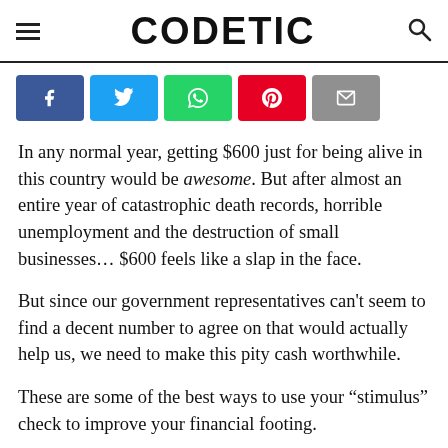CODETIC
[Figure (other): Social share buttons: Facebook, Twitter, WhatsApp, Pinterest, Email]
In any normal year, getting $600 just for being alive in this country would be awesome. But after almost an entire year of catastrophic death records, horrible unemployment and the destruction of small businesses... $600 feels like a slap in the face.
But since our government representatives can't seem to find a decent number to agree on that would actually help us, we need to make this pity cash worthwhile.
These are some of the best ways to use your “stimulus” check to improve your financial footing.